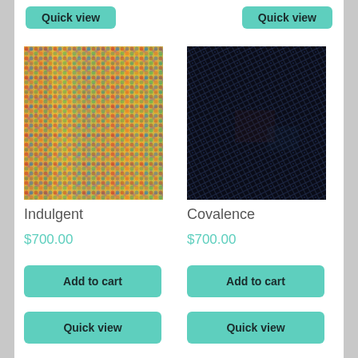[Figure (photo): Top partial row showing two teal 'Quick view' buttons at the top of the page]
[Figure (photo): Colorful multicolor woven textile fabric close-up with red, yellow, blue, green hues — product image for Indulgent]
[Figure (photo): Dark navy/black woven textile fabric close-up — product image for Covalence]
Indulgent
$700.00
Covalence
$700.00
Add to cart
Quick view
Add to cart
Quick view